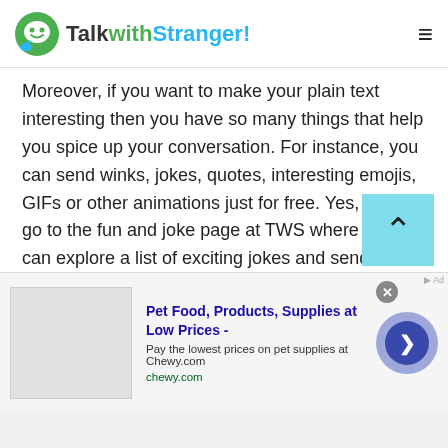TalkwithStranger!
Moreover, if you want to make your plain text interesting then you have so many things that help you spice up your conversation. For instance, you can send winks, jokes, quotes, interesting emojis, GIFs or other animations just for free. Yes, simply go to the fun and joke page at TWS where you can explore a list of exciting jokes and send them to your online friends or family. Not only this, you can share or play online games via texting online.
Voice chat
[Figure (other): Advertisement banner for Chewy.com: Pet Food, Products, Supplies at Low Prices - Pay the lowest prices on pet supplies at Chewy.com]